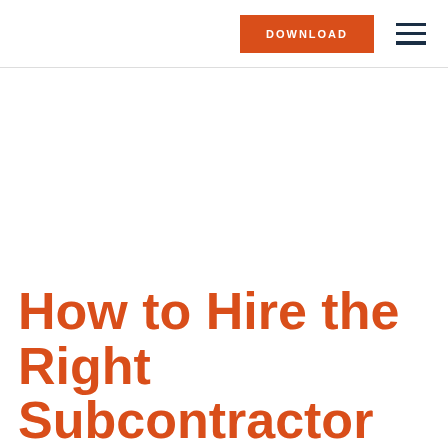DOWNLOAD
How to Hire the Right Subcontractor